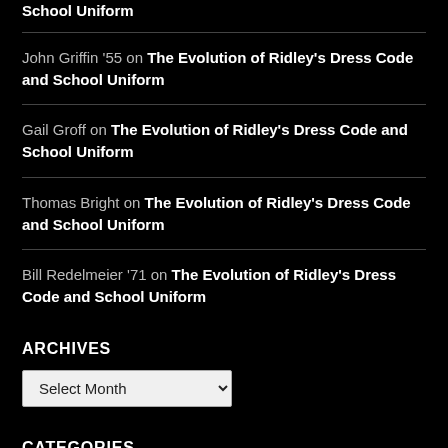School Uniform
John Griffin '55 on The Evolution of Ridley's Dress Code and School Uniform
Gail Groff on The Evolution of Ridley's Dress Code and School Uniform
Thomas Bright on The Evolution of Ridley's Dress Code and School Uniform
Bill Redelmeier '71 on The Evolution of Ridley's Dress Code and School Uniform
ARCHIVES
Select Month
CATEGORIES